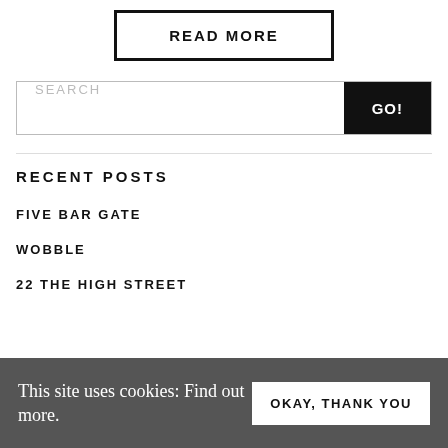READ MORE
SEARCH
GO!
RECENT POSTS
FIVE BAR GATE
WOBBLE
22 THE HIGH STREET
This site uses cookies: Find out more.
OKAY, THANK YOU